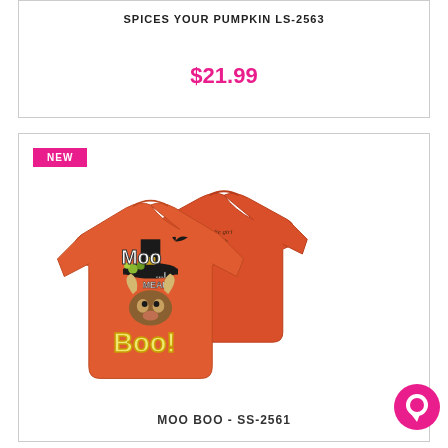SPICES YOUR PUMPKIN LS-2563
$21.99
NEW
[Figure (photo): Two orange Halloween-themed t-shirts showing front and back. Front design features a highland cow wearing a witch hat with text 'Moo...I Mean Boo!' and colorful graphics. Back shows a small script logo.]
MOO BOO - SS-2561